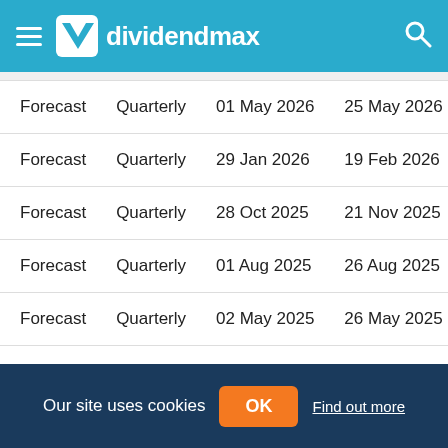dividendmax
| Forecast | Quarterly | 01 May 2026 | 25 May 2026 |
| Forecast | Quarterly | 29 Jan 2026 | 19 Feb 2026 |
| Forecast | Quarterly | 28 Oct 2025 | 21 Nov 2025 |
| Forecast | Quarterly | 01 Aug 2025 | 26 Aug 2025 |
| Forecast | Quarterly | 02 May 2025 | 26 May 2025 |
| Forecast | Quarterly | 30 Jan 2025 | 20 Feb 2025 |
Our site uses cookies  OK  Find out more